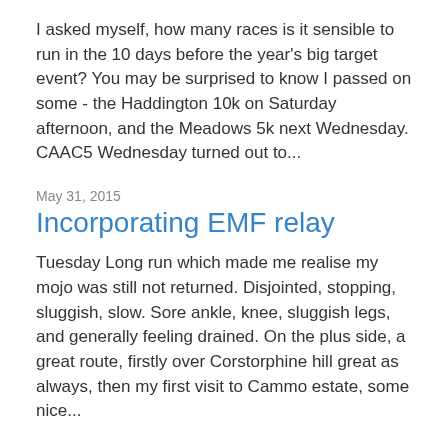I asked myself, how many races is it sensible to run in the 10 days before the year's big target event? You may be surprised to know I passed on some - the Haddington 10k on Saturday afternoon, and the Meadows 5k next Wednesday. CAAC5 Wednesday turned out to...
May 31, 2015
Incorporating EMF relay
Tuesday Long run which made me realise my mojo was still not returned. Disjointed, stopping, sluggish, slow. Sore ankle, knee, sluggish legs, and generally feeling drained. On the plus side, a great route, firstly over Corstorphine hill great as always, then my first visit to Cammo estate, some nice...
May 24, 2015
Silly Mile Race